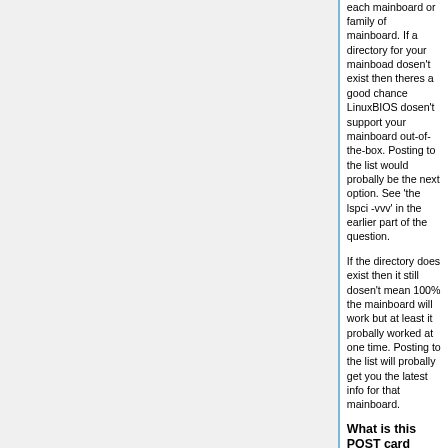each mainboard or family of mainboard. If a directory for your mainboad dosen't exist then theres a good chance LinuxBIOS dosen't support your mainboard out-of-the-box. Posting to the list would probally be the next option. See 'the lspci -vvv' in the earlier part of the question.
If the directory does exist then it still dosen't mean 100% the mainboard will work but at least it probally worked at one time. Posting to the list will probally get you the latest info for that mainboard.
What is this POST card thing?
A POST card will save your life. The term POST means Power On Self Test and comes from the original IBM specifications for the BIOS. Port 80 is a pre-defined port to which programs can